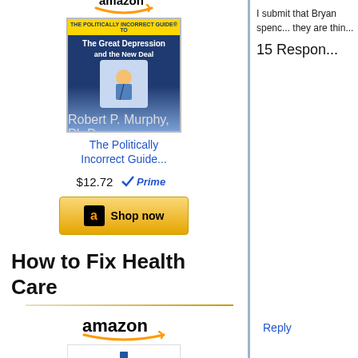[Figure (illustration): Amazon logo (partial, top arc/smile visible) above a book cover for 'The Politically Incorrect Guide to the Great Depression and the New Deal']
The Politically Incorrect Guide...
$12.72  Prime
[Figure (illustration): Amazon 'Shop now' button with black 'a' logo icon]
How to Fix Health Care
[Figure (illustration): Amazon logo followed by book cover for 'The Primal Prescription: Surviving the Sick Care Sinkhole']
I submit that Bryan spenc... they are thin...
15 Respon...
Reply